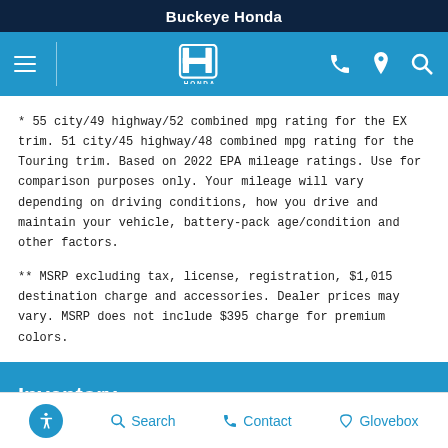Buckeye Honda
[Figure (logo): Honda logo and navigation bar with hamburger menu, Honda H logo, phone, location, and search icons]
* 55 city/49 highway/52 combined mpg rating for the EX trim. 51 city/45 highway/48 combined mpg rating for the Touring trim. Based on 2022 EPA mileage ratings. Use for comparison purposes only. Your mileage will vary depending on driving conditions, how you drive and maintain your vehicle, battery-pack age/condition and other factors.
** MSRP excluding tax, license, registration, $1,015 destination charge and accessories. Dealer prices may vary. MSRP does not include $395 charge for premium colors.
Inventory
Service
Search  Contact  Glovebox